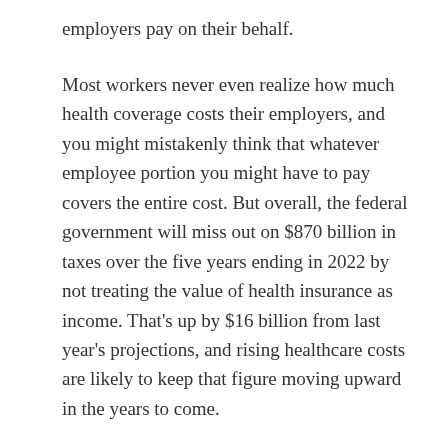employers pay on their behalf.
Most workers never even realize how much health coverage costs their employers, and you might mistakenly think that whatever employee portion you might have to pay covers the entire cost. But overall, the federal government will miss out on $870 billion in taxes over the five years ending in 2022 by not treating the value of health insurance as income. That’s up by $16 billion from last year’s projections, and rising healthcare costs are likely to keep that figure moving upward in the years to come.